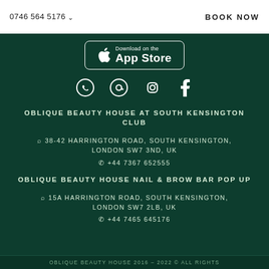0746 564 5176  BOOK NOW
[Figure (logo): Download on the App Store button with Apple logo]
[Figure (infographic): Social media icons: WhatsApp, email (@), Instagram, Facebook]
OBLIQUE BEAUTY HOUSE AT SOUTH KENSINGTON CLUB
38-42 HARRINGTON ROAD, SOUTH KENSINGTON, LONDON SW7 3ND, UK
+44 7367 652555
OBLIQUE BEAUTY HOUSE NAIL & BROW BAR POP UP
15A HARRINGTON ROAD, SOUTH KENSINGTON, LONDON SW7 2LB, UK
+44 7465 645176
OBLIQUE BEAUTY HOUSE 2016 – 2022 © ALL RIGHTS